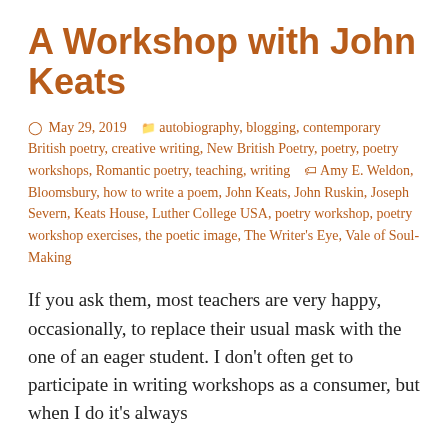A Workshop with John Keats
May 29, 2019  autobiography, blogging, contemporary British poetry, creative writing, New British Poetry, poetry, poetry workshops, Romantic poetry, teaching, writing  Amy E. Weldon, Bloomsbury, how to write a poem, John Keats, John Ruskin, Joseph Severn, Keats House, Luther College USA, poetry workshop, poetry workshop exercises, the poetic image, The Writer's Eye, Vale of Soul-Making
If you ask them, most teachers are very happy, occasionally, to replace their usual mask with the one of an eager student. I don't often get to participate in writing workshops as a consumer, but when I do it's always